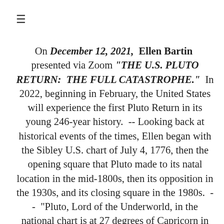≡
On December 12, 2021, Ellen Bartin presented via Zoom "THE U.S. PLUTO RETURN: THE FULL CATASTROPHE." In 2022, beginning in February, the United States will experience the first Pluto Return in its young 246-year history. -- Looking back at historical events of the times, Ellen began with the Sibley U.S. chart of July 4, 1776, then the opening square that Pluto made to its natal location in the mid-1800s, then its opposition in the 1930s, and its closing square in the 1980s. -- "Pluto, Lord of the Underworld, in the national chart is at 27 degrees of Capricorn in the 2nd house. So at its Return, crisis and transformation are likely in the area of resources